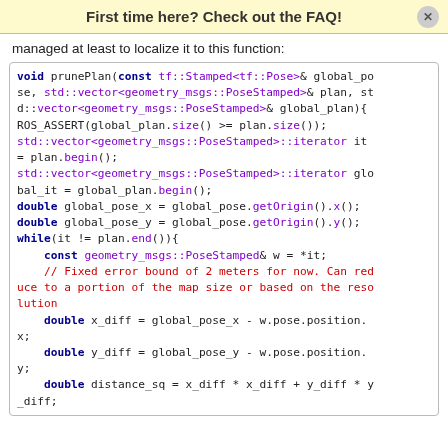First time here? Check out the FAQ!
managed at least to localize it to this function:
[Figure (screenshot): Code block showing the prunePlan function in C++, including iterator declarations, while loop, comments about fixed error bound, and distance_sq calculation.]